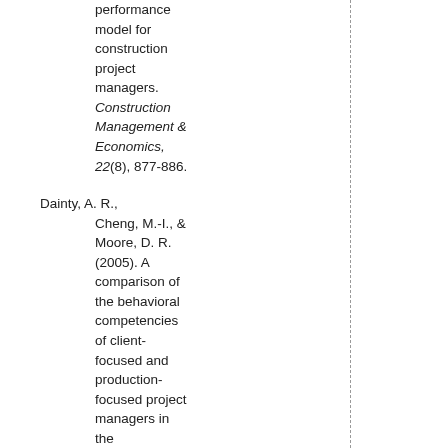performance model for construction project managers. Construction Management & Economics, 22(8), 877-886.
Dainty, A. R., Cheng, M.-I., & Moore, D. R. (2005). A comparison of the behavioral competencies of client-focused and production-focused project managers in the construction sector. Project Management Journal, 36(2), 39-48.
Davis, R. (2003).